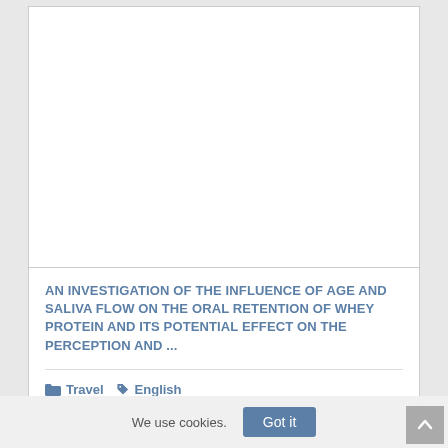[Figure (other): White blank image area inside a bordered card]
AN INVESTIGATION OF THE INFLUENCE OF AGE AND SALIVA FLOW ON THE ORAL RETENTION OF WHEY PROTEIN AND ITS POTENTIAL EFFECT ON THE PERCEPTION AND ...
Travel  English
We use cookies.